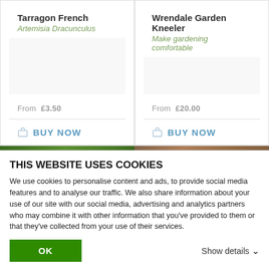Tarragon French
Artemisia Dracunculus
From  £3.50
BUY NOW
Wrendale Garden Kneeler
Make gardening comfortable
From  £20.00
BUY NOW
[Figure (photo): Green plant/garden photo strip on left, warm-toned circular image on right]
THIS WEBSITE USES COOKIES
We use cookies to personalise content and ads, to provide social media features and to analyse our traffic. We also share information about your use of our site with our social media, advertising and analytics partners who may combine it with other information that you've provided to them or that they've collected from your use of their services.
OK
Show details